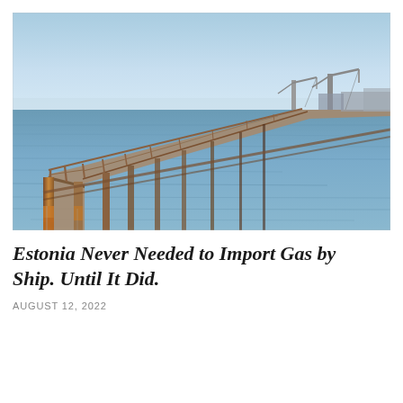[Figure (photo): A long industrial pier or jetty extending over calm blue-gray water toward the horizon. The pier has a reddish-brown metal railing structure and concrete/metal support columns rising from the water. On the right side in the distance, two large cranes and port infrastructure are visible against a light blue sky.]
Estonia Never Needed to Import Gas by Ship. Until It Did.
AUGUST 12, 2022